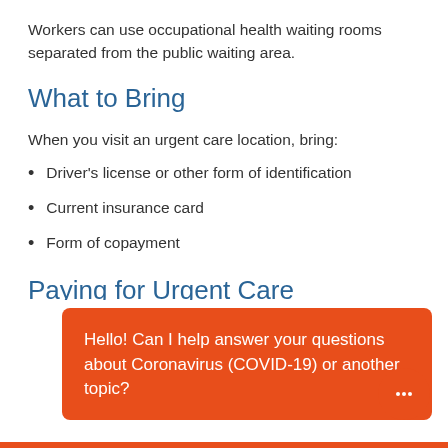Workers can use occupational health waiting rooms separated from the public waiting area.
What to Bring
When you visit an urgent care location, bring:
Driver's license or other form of identification
Current insurance card
Form of copayment
Paying for Urgent Care
View our self-pay pricing and list of accepted insurances. Check with your insurance provider to se
Hello! Can I help answer your questions about Coronavirus (COVID-19) or another topic?